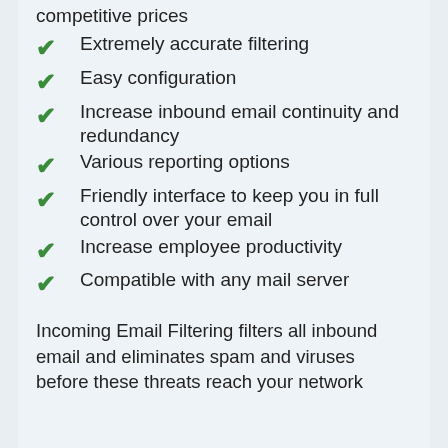competitive prices
Extremely accurate filtering
Easy configuration
Increase inbound email continuity and redundancy
Various reporting options
Friendly interface to keep you in full control over your email
Increase employee productivity
Compatible with any mail server
Incoming Email Filtering filters all inbound email and eliminates spam and viruses before these threats reach your network